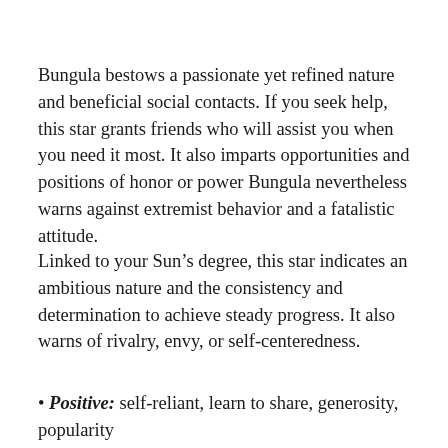Bungula bestows a passionate yet refined nature and beneficial social contacts. If you seek help, this star grants friends who will assist you when you need it most. It also imparts opportunities and positions of honor or power Bungula nevertheless warns against extremist behavior and a fatalistic attitude.
Linked to your Sun’s degree, this star indicates an ambitious nature and the consistency and determination to achieve steady progress. It also warns of rivalry, envy, or self-centeredness.
• Positive: self-reliant, learn to share, generosity, popularity